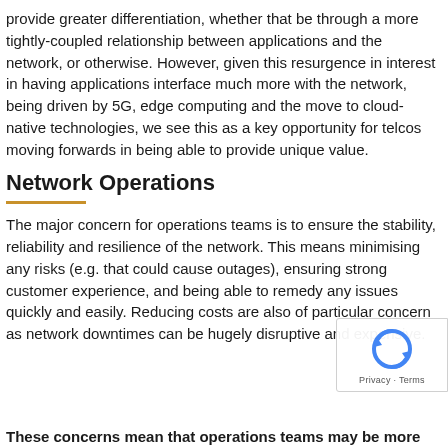provide greater differentiation, whether that be through a more tightly-coupled relationship between applications and the network, or otherwise. However, given this resurgence in interest in having applications interface much more with the network, being driven by 5G, edge computing and the move to cloud-native technologies, we see this as a key opportunity for telcos moving forwards in being able to provide unique value.
Network Operations
The major concern for operations teams is to ensure the stability, reliability and resilience of the network. This means minimising any risks (e.g. that could cause outages), ensuring strong customer experience, and being able to remedy any issues quickly and easily. Reducing costs are also of particular concern as network downtimes can be hugely disruptive and expensive.
These concerns mean that operations teams may be more...